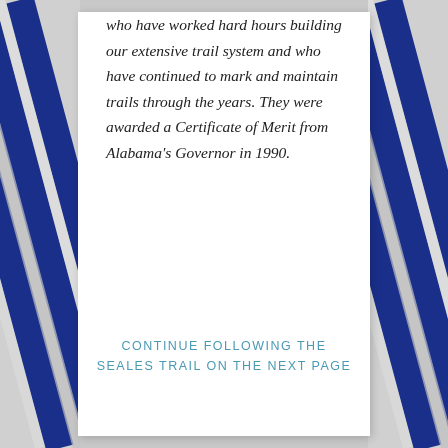who have worked hard hours building our extensive trail system and who have continued to mark and maintain trails through the years. They were awarded a Certificate of Merit from Alabama's Governor in 1990.
CONTINUE FOLLOWING THE SEALES TRAIL ON THE NEXT PAGE